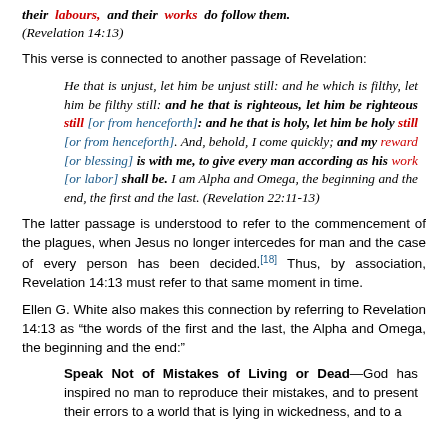their labours, and their works do follow them. (Revelation 14:13)
This verse is connected to another passage of Revelation:
He that is unjust, let him be unjust still: and he which is filthy, let him be filthy still: and he that is righteous, let him be righteous still [or from henceforth]: and he that is holy, let him be holy still [or from henceforth]. And, behold, I come quickly; and my reward [or blessing] is with me, to give every man according as his work [or labor] shall be. I am Alpha and Omega, the beginning and the end, the first and the last. (Revelation 22:11-13)
The latter passage is understood to refer to the commencement of the plagues, when Jesus no longer intercedes for man and the case of every person has been decided.[18] Thus, by association, Revelation 14:13 must refer to that same moment in time.
Ellen G. White also makes this connection by referring to Revelation 14:13 as “the words of the first and the last, the Alpha and Omega, the beginning and the end:”
Speak Not of Mistakes of Living or Dead—God has inspired no man to reproduce their mistakes, and to present their errors to a world that is lying in wickedness, and to a